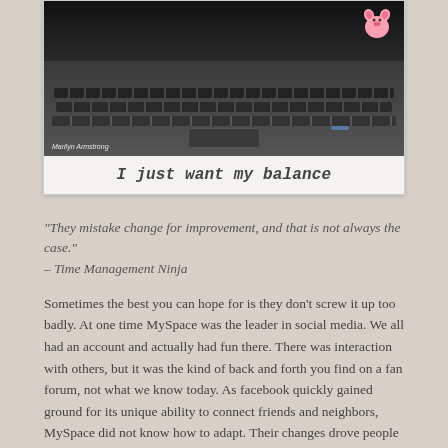[Figure (photo): Photo of a laptop keyboard on a desk, with a small pink pig figurine visible in the top right corner. Photo credit: Marilyn Armstrong.]
I just want my balance
“They mistake change for improvement, and that is not always the case.” – Time Management Ninja
Sometimes the best you can hope for is they don’t screw it up too badly. At one time MySpace was the leader in social media. We all had an account and actually had fun there. There was interaction with others, but it was the kind of back and forth you find on a fan forum, not what we know today. As facebook quickly gained ground for its unique ability to connect friends and neighbors, MySpace did not know how to adapt. Their changes drove people away and it eventually turned into a music site, more or less.
Sometimes change is necessary, but it has to be the right change. It needs to be the type the user will embrace. When